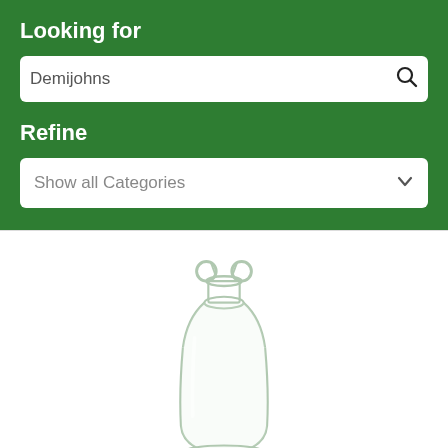Looking for
Demijohns
Refine
Show all Categories
[Figure (photo): A clear glass demijohn bottle with two small loop handles at the neck, shown on white background]